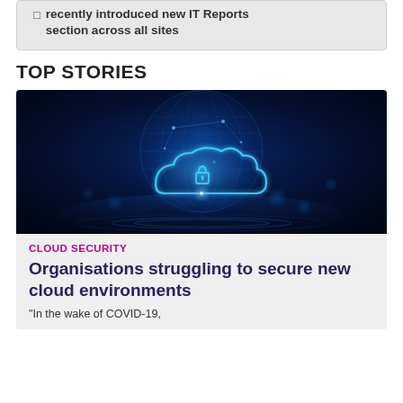recently introduced new IT Reports section across all sites
TOP STORIES
[Figure (photo): Digital cloud security concept image: glowing blue cloud with padlock icon overlaid on a globe/earth shape, set against a dark blue digital background with network connections and light reflections on water.]
CLOUD SECURITY
Organisations struggling to secure new cloud environments
“In the wake of COVID-19,